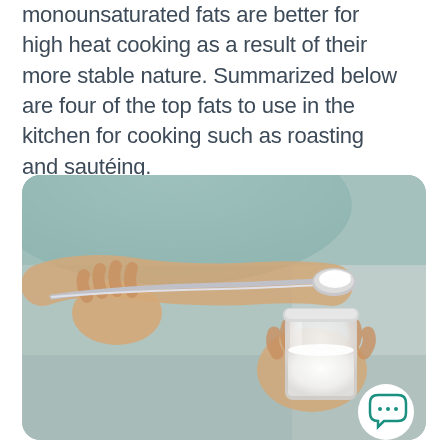monounsaturated fats are better for high heat cooking as a result of their more stable nature. Summarized below are four of the top fats to use in the kitchen for cooking such as roasting and sautéing.
[Figure (photo): Person in a teal shirt holding a small glass jar of white coconut oil or similar fat with one hand, and scooping a spoonful of the white solid fat with the other hand using a metal spoon. A chat bubble icon with ellipsis appears in the lower right corner of the photo.]